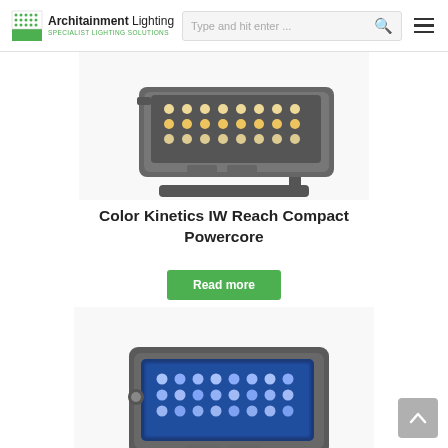Architainment Lighting — SPECIALIST LIGHTING SOLUTIONS | Search bar: Type and hit enter ...
[Figure (photo): Color Kinetics IW Reach Compact Powercore LED floodlight fixture in grey/dark metal casing with warm white LEDs, mounted on a bracket, partially cropped at top]
Color Kinetics IW Reach Compact Powercore
Read more
[Figure (photo): Color Kinetics EColor Reach Compact Powercore LED floodlight fixture in grey/dark metal casing with blue LEDs illuminated, mounted on a bracket]
Color Kinetics EColor Reach Compact Powercore